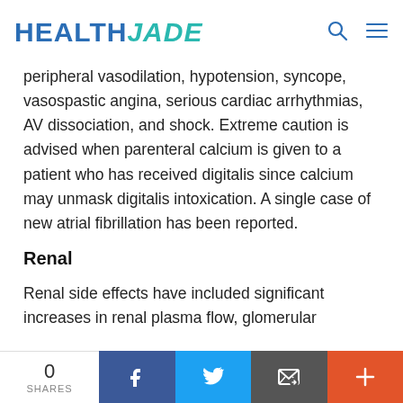HEALTH JADE
peripheral vasodilation, hypotension, syncope, vasospastic angina, serious cardiac arrhythmias, AV dissociation, and shock. Extreme caution is advised when parenteral calcium is given to a patient who has received digitalis since calcium may unmask digitalis intoxication. A single case of new atrial fibrillation has been reported.
Renal
Renal side effects have included significant increases in renal plasma flow, glomerular